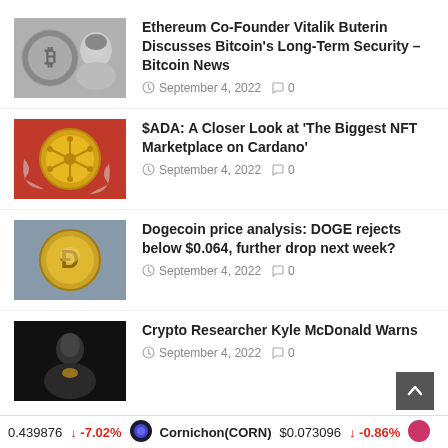[Figure (photo): Thumbnail image of Bitcoin coin and Vitalik Buterin portrait in grayscale]
Ethereum Co-Founder Vitalik Buterin Discusses Bitcoin's Long-Term Security – Bitcoin News
September 4, 2022  0
[Figure (photo): Thumbnail image of Cardano (ADA) gold coin on red background]
$ADA: A Closer Look at 'The Biggest NFT Marketplace on Cardano'
September 4, 2022  0
[Figure (photo): Thumbnail image of Dogecoin (DOGE) gold coin on gray background]
Dogecoin price analysis: DOGE rejects below $0.064, further drop next week?
September 4, 2022  0
[Figure (photo): Thumbnail image of Crypto Researcher Kyle McDonald in dark background]
Crypto Researcher Kyle McDonald Warns
September 4, 2022  0
0.439876  -7.02%  Cornichon(CORN)  $0.073096  -0.86%